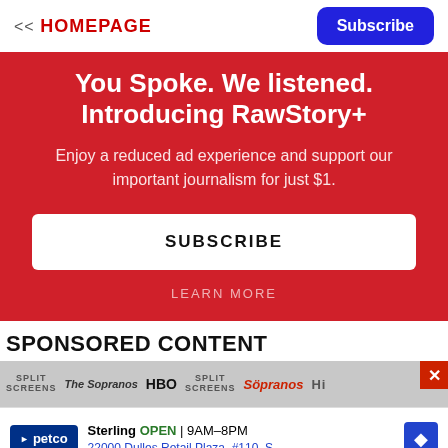<< HOMEPAGE
You Spoke. We listened. Introducing RawStory+
Enjoy a reduced ad experience and support our important journalism for just $1.
SUBSCRIBE
LEARN MORE
SPONSORED CONTENT
[Figure (other): Ad strip showing Sopranos and HBO logos with Split Screens text, and a close button]
[Figure (other): Bottom advertisement for Petco in Sterling, OPEN 9AM-8PM, 22000 Dulles Retail Plaza, #110, S...]